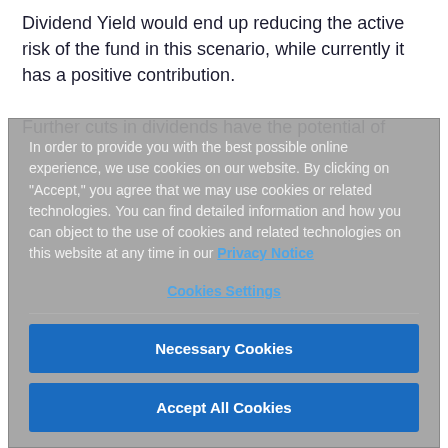Dividend Yield would end up reducing the active risk of the fund in this scenario, while currently it has a positive contribution.
Further cuts in dividends have the potential of
In order to provide you with the best possible online experience, we use cookies on our website. By clicking on "Accept," you agree that we may use cookies or related technologies. You can find detailed information and how you can object to the use of cookies and related technologies on this website at any time in our Privacy Notice
Cookies Settings
Necessary Cookies
Accept All Cookies